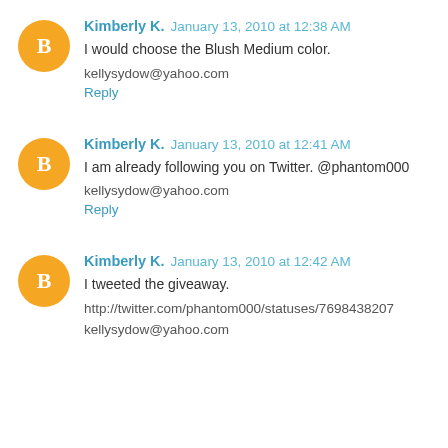Kimberly K.  January 13, 2010 at 12:38 AM
I would choose the Blush Medium color.
kellysydow@yahoo.com
Reply
Kimberly K.  January 13, 2010 at 12:41 AM
I am already following you on Twitter. @phantom000
kellysydow@yahoo.com
Reply
Kimberly K.  January 13, 2010 at 12:42 AM
I tweeted the giveaway.
http://twitter.com/phantom000/statuses/7698438207
kellysydow@yahoo.com